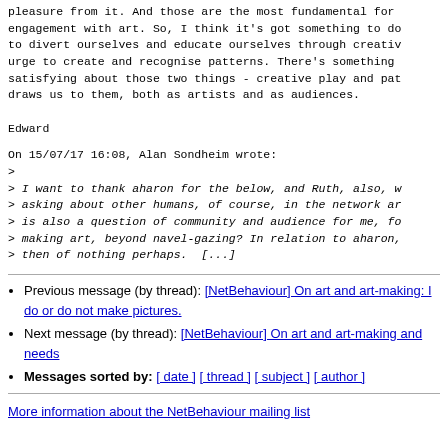pleasure from it. And those are the most fundamental forms of engagement with art. So, I think it's got something to do to divert ourselves and educate ourselves through creative urge to create and recognise patterns. There's something satisfying about those two things - creative play and patterns draws us to them, both as artists and as audiences.

Edward
On 15/07/17 16:08, Alan Sondheim wrote:
>
> I want to thank aharon for the below, and Ruth, also, w...
> asking about other humans, of course, in the network ar...
> is also a question of community and audience for me, fo...
> making art, beyond navel-gazing? In relation to aharon,...
> then of nothing perhaps.  [...]
Previous message (by thread): [NetBehaviour] On art and art-making: I do or do not make pictures.
Next message (by thread): [NetBehaviour] On art and art-making and needs
Messages sorted by: [ date ] [ thread ] [ subject ] [ author ]
More information about the NetBehaviour mailing list